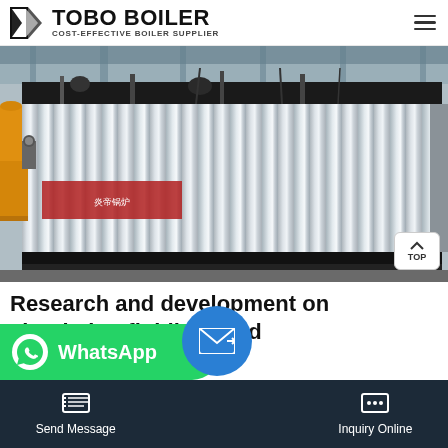TOBO BOILER COST-EFFECTIVE BOILER SUPPLIER
[Figure (photo): Large industrial circulating fluidized bed (CFB) boiler with corrugated metal cladding inside a factory. Yellow pipe/duct visible on left side. Red signage on boiler body. Industrial ceiling and structure visible above.]
Research and development on circulating fluidized bed
...large CFB ... plant as
Send Message  Inquiry Online